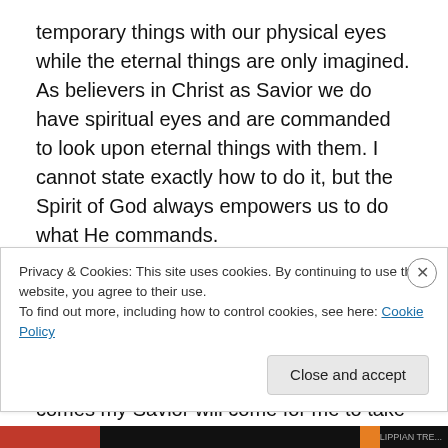temporary things with our physical eyes while the eternal things are only imagined. As believers in Christ as Savior we do have spiritual eyes and are commanded to look upon eternal things with them. I cannot state exactly how to do it, but the Spirit of God always empowers us to do what He commands.

I learned a lesson that day from George. In spite of the seemingly painful process of death it is not to be dreaded by any believer in Christ Jesus. When the time comes my Savior will come for me to take me home, and He will no
Privacy & Cookies: This site uses cookies. By continuing to use this website, you agree to their use.
To find out more, including how to control cookies, see here: Cookie Policy